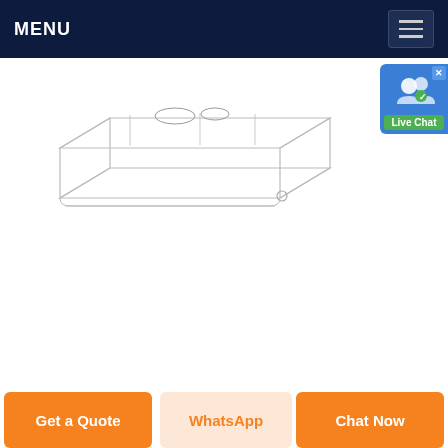MENU
[Figure (engineering-diagram): Technical line drawing of a rectangular sensor/device housing showing isometric view with wiring connectors on top and mounting detail on corner]
[Figure (other): Live Chat badge with user icon and green label]
ComputerProx: Automatically L...
We offer a full line of solutions to meet your needs. The very popular TF2000 Ultrasonic Proximity Sensor uses ultrasound to detect a user"s presence. We also offer pressuresonsitive mats and wireless door
Get a Quote | WhatsApp | Chat Now